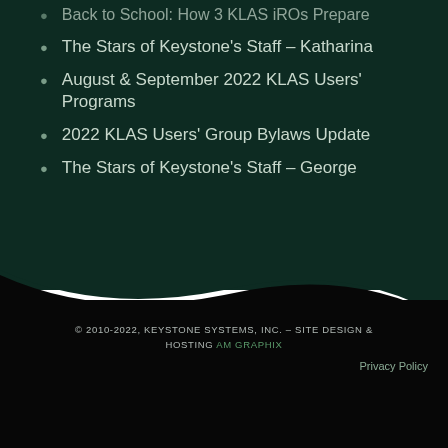Back to School: How 3 KLAS iROs Prepare
The Stars of Keystone's Staff – Katharina
August & September 2022 KLAS Users' Programs
2022 KLAS Users' Group Bylaws Update
The Stars of Keystone's Staff – George
© 2010-2022, KEYSTONE SYSTEMS, INC. – SITE DESIGN & HOSTING AM GRAPHIX  Privacy Policy